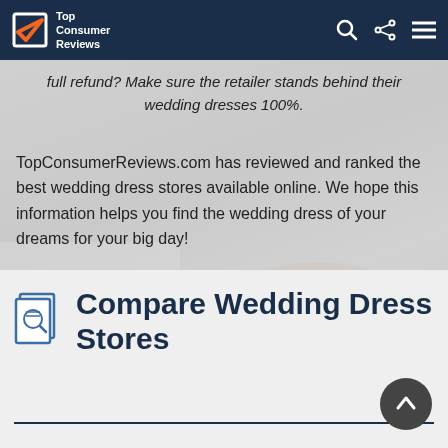Top Consumer Reviews
full refund? Make sure the retailer stands behind their wedding dresses 100%.
TopConsumerReviews.com has reviewed and ranked the best wedding dress stores available online. We hope this information helps you find the wedding dress of your dreams for your big day!
[Figure (photo): Background photo of a bride smiling, partially obscured by a semi-transparent overlay]
Compare Wedding Dress Stores